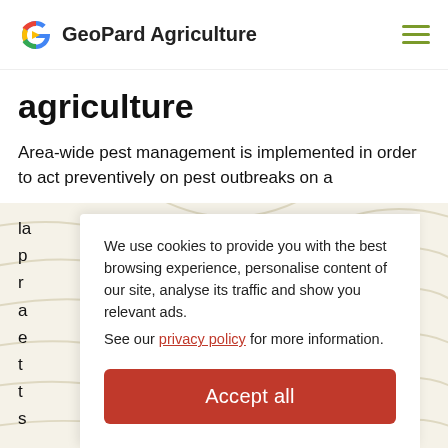GeoPard Agriculture
agriculture
Area-wide pest management is implemented in order to act preventively on pest outbreaks on a la... p... r... a... e... t... t... s...
We use cookies to provide you with the best browsing experience, personalise content of our site, analyse its traffic and show you relevant ads. See our privacy policy for more information.
Accept all